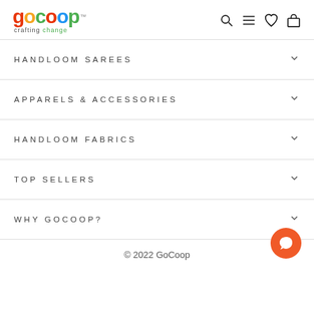[Figure (logo): GoCoop logo with colorful letters and 'crafting change' tagline]
HANDLOOM SAREES
APPARELS & ACCESSORIES
HANDLOOM FABRICS
TOP SELLERS
WHY GOCOOP?
© 2022 GoCoop